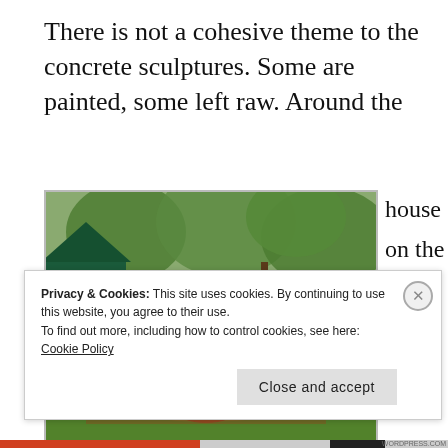There is not a cohesive theme to the concrete sculptures. Some are painted, some left raw. Around the house on the large front lawn there are fantastical creatures like tree elves and
[Figure (photo): Outdoor photograph showing rusty-red metal/concrete sculptures of fantastical tree-like creatures on a grass lawn, with a green shed and trees in the background.]
Privacy & Cookies: This site uses cookies. By continuing to use this website, you agree to their use.
To find out more, including how to control cookies, see here: Cookie Policy
Close and accept